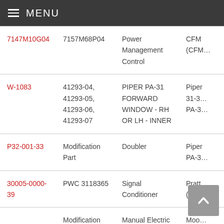MENU
| Part Number | Part Number | Description | Manufacturer |
| --- | --- | --- | --- |
| 7147M10G04 | 7157M68P04 | Power Management Control | CFM (CFM… |
| W-1083 | 41293-04, 41293-05, 41293-06, 41293-07 | PIPER PA-31 FORWARD WINDOW - RH OR LH - INNER | Piper 31-3… PA-3… |
| P32-001-33 | Modification Part | Doubler | Piper PA-3… |
| 30005-0000-39 | PWC 3118365 | Signal Conditioner | Pratt (PW1… |
|  | Modification | Manual Electric | Moo… |